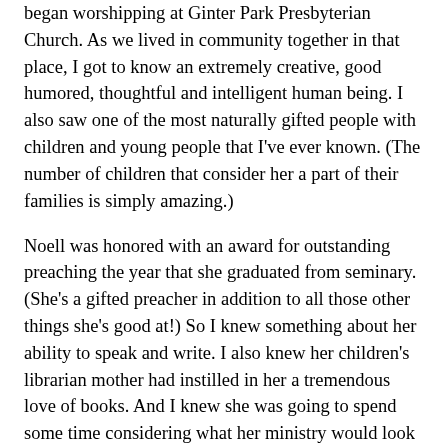began worshipping at Ginter Park Presbyterian Church.  As we lived in community together in that place, I got to know an extremely creative, good humored, thoughtful and intelligent human being.  I also saw one of the most naturally gifted people with children and young people that I've ever known.  (The number of children that consider her a part of their families is simply amazing.)
Noell was honored with an award for outstanding preaching the year that she graduated from seminary.  (She's a gifted preacher in addition to all those other things she's good at!)  So I knew something about her ability to speak and write.  I also knew her children's librarian mother had instilled in her a tremendous love of books.  And I knew she was going to spend some time considering what her ministry would look like after seminary.  I'm so grateful that in God's timing, Noell's needs and gifts and the Library's needs and dreams meshed perfectly and that her enthusiasm